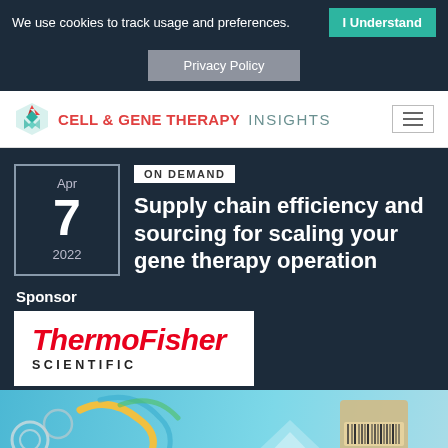We use cookies to track usage and preferences.  I Understand
Privacy Policy
CELL & GENE THERAPY INSIGHTS
Apr 7 2022
ON DEMAND
Supply chain efficiency and sourcing for scaling your gene therapy operation
Sponsor
[Figure (logo): ThermoFisher Scientific sponsor logo in red italic bold text on white background]
[Figure (illustration): Colorful illustration strip showing supply chain elements including gears, boxes with barcode, on a teal/blue background]